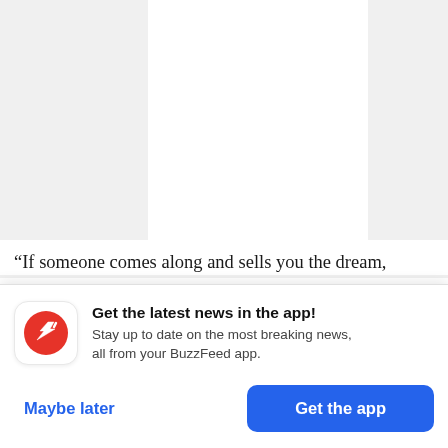[Figure (screenshot): Background showing a white document page on a gray background, with partial article text visible]
“If someone comes along and sells you the dream,
[Figure (infographic): BuzzFeed app notification popup with red circular logo (white arrow icon), heading 'Get the latest news in the app!', subtext 'Stay up to date on the most breaking news, all from your BuzzFeed app.', a 'Maybe later' text button and a blue 'Get the app' button]
Get the latest news in the app! Stay up to date on the most breaking news, all from your BuzzFeed app.
Maybe later
Get the app